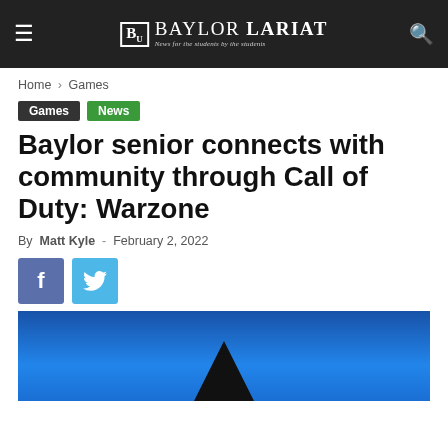Baylor Lariat — News for the students by the students
Home › Games
Games  News
Baylor senior connects with community through Call of Duty: Warzone
By Matt Kyle - February 2, 2022
[Figure (screenshot): Social share buttons: Facebook (blue-gray) and Twitter (light blue)]
[Figure (photo): Blue-toned nighttime photo with a dark silhouetted shape at the bottom center against a bright blue sky background]